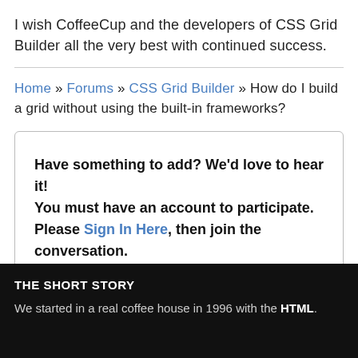I wish CoffeeCup and the developers of CSS Grid Builder all the very best with continued success.
Home » Forums » CSS Grid Builder » How do I build a grid without using the built-in frameworks?
Have something to add? We'd love to hear it! You must have an account to participate. Please Sign In Here, then join the conversation.
THE SHORT STORY
We started in a real coffee house in 1996 with the HTML.